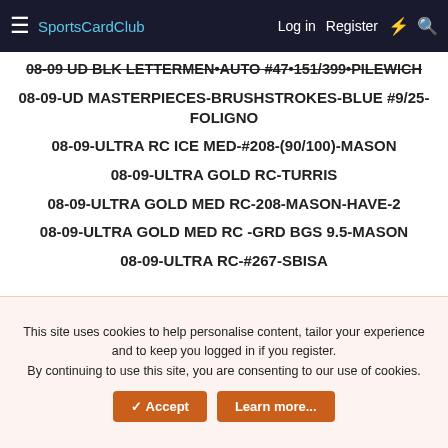SportsCardClub  Log in  Register
08-09 UD BLK LETTERMEN•AUTO #47•151/399•PILEWICH
08-09-UD MASTERPIECES-BRUSHSTROKES-BLUE #9/25-FOLIGNO
08-09-ULTRA RC ICE MED-#208-(90/100)-MASON
08-09-ULTRA GOLD RC-TURRIS
08-09-ULTRA GOLD MED RC-208-MASON-HAVE-2
08-09-ULTRA GOLD MED RC -GRD BGS 9.5-MASON
08-09-ULTRA RC-#267-SBISA
This site uses cookies to help personalise content, tailor your experience and to keep you logged in if you register.
By continuing to use this site, you are consenting to our use of cookies.